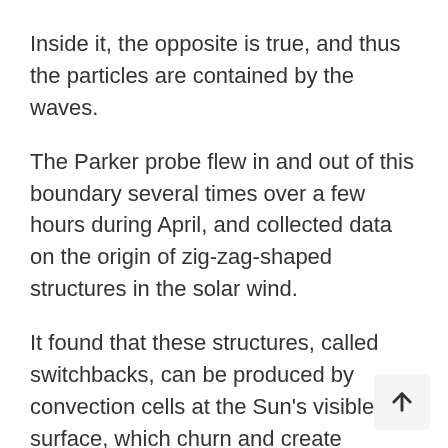Inside it, the opposite is true, and thus the particles are contained by the waves.
The Parker probe flew in and out of this boundary several times over a few hours during April, and collected data on the origin of zig-zag-shaped structures in the solar wind.
It found that these structures, called switchbacks, can be produced by convection cells at the Sun's visible surface, which churn and create funnels of magnetic energy above the surface.
When the probe set off in 2019, it had to con… with the fact that the Earth travels 67,000 miles…